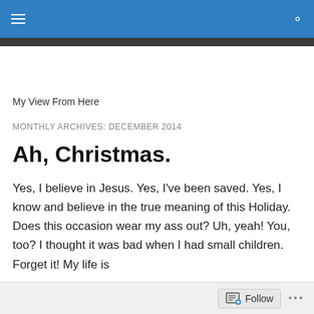My View From Here
MONTHLY ARCHIVES: DECEMBER 2014
Ah, Christmas.
Yes, I believe in Jesus. Yes, I've been saved. Yes, I know and believe in the true meaning of this Holiday. Does this occasion wear my ass out? Uh, yeah! You, too? I thought it was bad when I had small children. Forget it! My life is